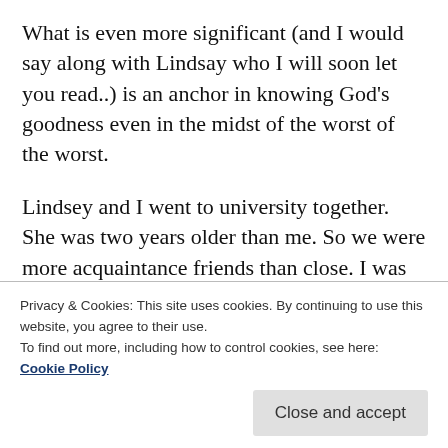What is even more significant (and I would say along with Lindsay who I will soon let you read..) is an anchor in knowing God’s goodness even in the midst of the worst of the worst.
Lindsey and I went to university together. She was two years older than me. So we were more acquaintance friends than close. I was better friends with her brother who was in my year. Lindsey and her husband are newly married. They got pregnant with their first child, a little girl they have named Sophie about 8 months ago. Unless God
Privacy & Cookies: This site uses cookies. By continuing to use this website, you agree to their use.
To find out more, including how to control cookies, see here:
Cookie Policy
Close and accept
bring tears to your eyes... Pray for them with me. I